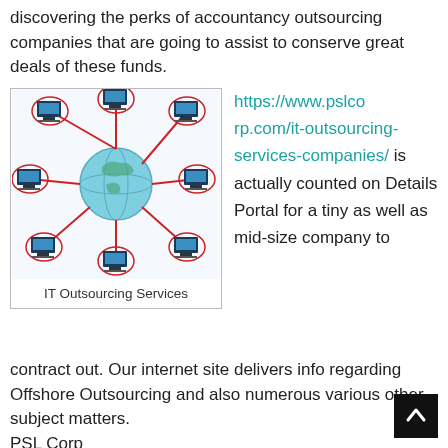discovering the perks of accountancy outsourcing companies that are going to assist to conserve great deals of these funds.
[Figure (illustration): Diagram showing a globe in the center connected by red lines to multiple computer workstations arranged around it, representing IT outsourcing services network.]
IT Outsourcing Services
https://www.pslcorp.com/it-outsourcing-services-companies/ is actually counted on Details Portal for a tiny as well as mid-size company to contract out. Our internet site delivers info regarding Offshore Outsourcing and also numerous various other subject matters.
PSL Corp
154 Grand St, New York, NY 10013, USA